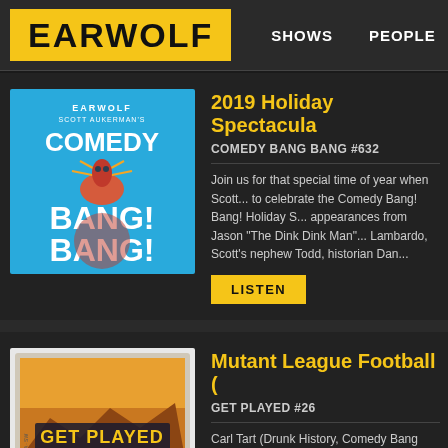EARWOLF | SHOWS | PEOPLE
2019 Holiday Spectacular
COMEDY BANG BANG #632
Join us for that special time of year when Scott... to celebrate the Comedy Bang! Bang! Holiday S... appearances from Jason "The Dink Dink Man"... Lambardo, Scott's nephew Todd, historian Dan...
LISTEN
Mutant League Football (
GET PLAYED #26
Carl Tart (Drunk History, Comedy Bang Bang) j... discuss Mutant League Football. They talk abo... sports games, the in-game advantages popula... more. This episode is brought to you by...